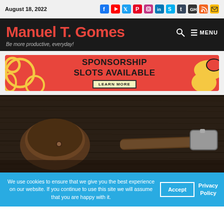August 18, 2022
Manuel T. Gomes
Be more productive, everyday!
[Figure (infographic): Sponsorship Slots Available advertisement banner with red background, decorative yellow/orange circles on left and right, text reads SPONSORSHIP SLOTS AVAILABLE with LEARN MORE button]
[Figure (photo): Dark wood plank wall background with vintage tools hanging on it including a leather pouch/holster and an old hammer]
We use cookies to ensure that we give you the best experience on our website. If you continue to use this site we will assume that you are happy with it.